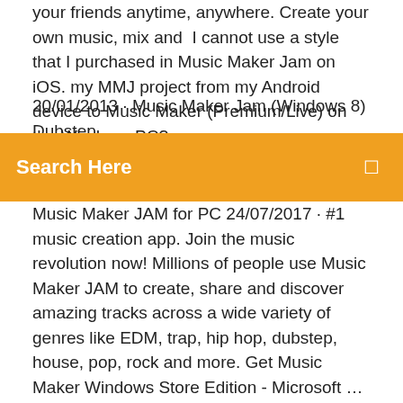your friends anytime, anywhere. Create your own music, mix and  I cannot use a style that I purchased in Music Maker Jam on iOS. my MMJ project from my Android device to Music Maker (Premium/Live) on the Windows PC?
20/01/2013 · Music Maker Jam (Windows 8) Dubstep SuperDiFeo, Loading Unsubscribe from SuperDiFeo? Dubstep
[Figure (screenshot): Orange search bar with 'Search Here' placeholder text and a search icon on the right]
Music Maker JAM for PC 24/07/2017 · #1 music creation app. Join the music revolution now! Millions of people use Music Maker JAM to create, share and discover amazing tracks across a wide variety of genres like EDM, trap, hip hop, dubstep, house, pop, rock and more. Get Music Maker Windows Store Edition - Microsoft … 23/03/2017 · Download this app from Microsoft Store for Windows 10. See screenshots, read the latest customer reviews, and compare ratings for Music Maker Windows Store Edition. Music Maker Jam - Free downloads and